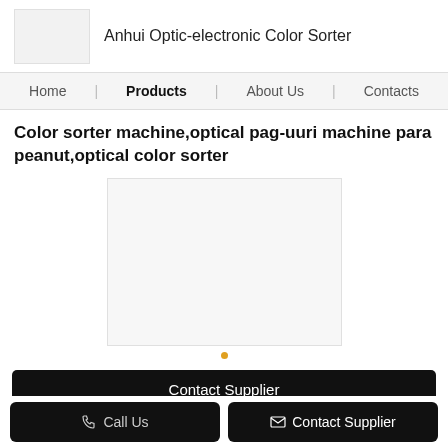Anhui Optic-electronic Color Sorter
Home | Products | About Us | Contacts
Color sorter machine,optical pag-uuri machine para peanut,optical color sorter
[Figure (photo): Product image placeholder box (light gray rectangle) for color sorter machine]
Contact Supplier
Call Us   Contact Supplier